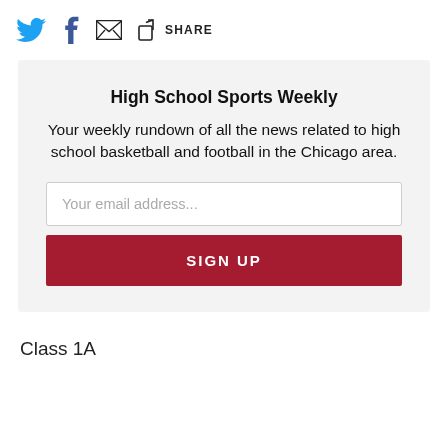[Figure (infographic): Social share bar with Twitter bird icon, Facebook f icon, email envelope icon, and share box icon with SHARE text]
High School Sports Weekly
Your weekly rundown of all the news related to high school basketball and football in the Chicago area.
Your email address...
SIGN UP
Class 1A